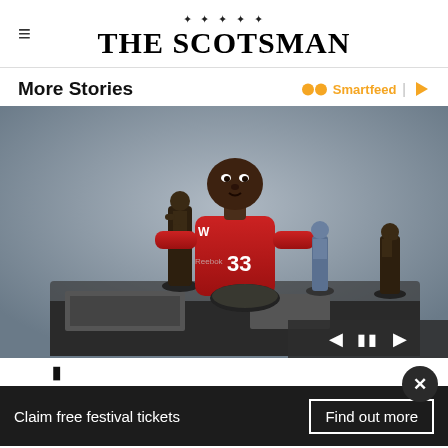THE SCOTSMAN
More Stories
[Figure (photo): Football player in red Wisconsin Badgers jersey (#33) posing with multiple football trophies and award statues on a table, set against a gray studio background]
Claim free festival tickets
Find out more